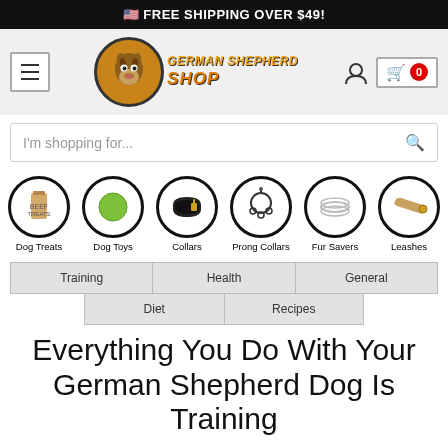FREE SHIPPING OVER $49!
[Figure (logo): German Shepherd Shop logo with cartoon GSD dog in circle, orange text 'GERMAN SHEPHERD SHOP']
I'm shopping for...
[Figure (infographic): Six category icons in circles: Dog Treats, Dog Toys, Collars, Prong Collars, Fur Savers, Leashes]
| Training | Health | General |
| Diet | Recipes |
Everything You Do With Your German Shepherd Dog Is Training